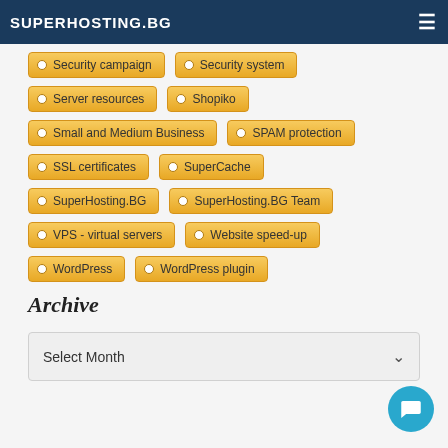SUPERHOSTING.BG
Security campaign
Security system
Server resources
Shopiko
Small and Medium Business
SPAM protection
SSL certificates
SuperCache
SuperHosting.BG
SuperHosting.BG Team
VPS - virtual servers
Website speed-up
WordPress
WordPress plugin
Archive
Select Month